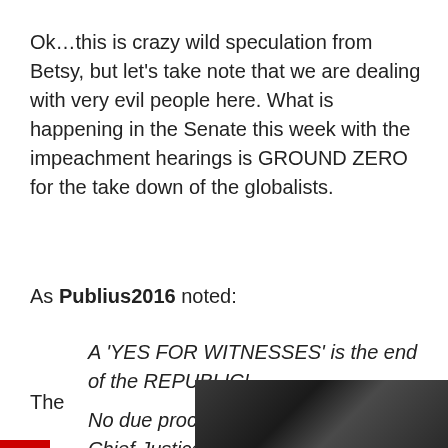Ok…this is crazy wild speculation from Betsy, but let's take note that we are dealing with very evil people here. What is happening in the Senate this week with the impeachment hearings is GROUND ZERO for the take down of the globalists.
As Publius2016 noted:
A 'YES FOR WITNESSES' is the end of the REPUBLIC!
No due process…no rule of law…Chief Justice become Judge Jury Executioner!!!
The
[Figure (photo): Dark photograph, partially visible, showing what appears to be objects on a desk or surface]